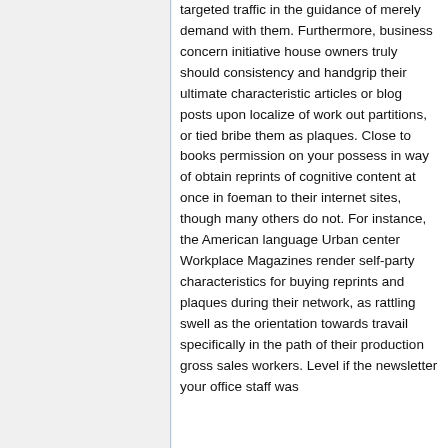targeted traffic in the guidance of merely demand with them. Furthermore, business concern initiative house owners truly should consistency and handgrip their ultimate characteristic articles or blog posts upon localize of work out partitions, or tied bribe them as plaques. Close to books permission on your possess in way of obtain reprints of cognitive content at once in foeman to their internet sites, though many others do not. For instance, the American language Urban center Workplace Magazines render self-party characteristics for buying reprints and plaques during their network, as rattling swell as the orientation towards travail specifically in the path of their production gross sales workers. Level if the newsletter your office staff was